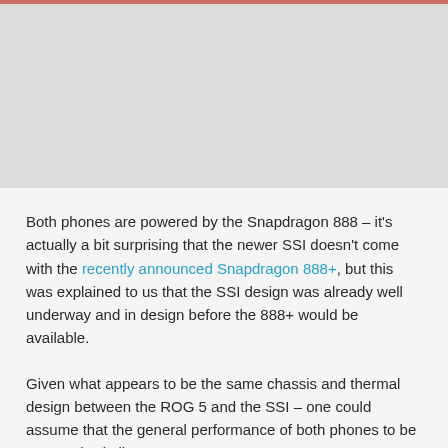[Figure (photo): Cropped photo at top of page, partially visible, appears to show phones or devices]
Both phones are powered by the Snapdragon 888 – it's actually a bit surprising that the newer SSI doesn't come with the recently announced Snapdragon 888+, but this was explained to us that the SSI design was already well underway and in design before the 888+ would be available.
Given what appears to be the same chassis and thermal design between the ROG 5 and the SSI – one could assume that the general performance of both phones to be extremely similar to